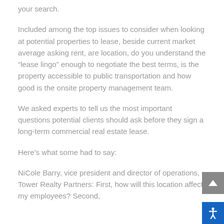your search.
Included among the top issues to consider when looking at potential properties to lease, beside current market average asking rent, are location, do you understand the “lease lingo” enough to negotiate the best terms, is the property accessible to public transportation and how good is the onsite property management team.
We asked experts to tell us the most important questions potential clients should ask before they sign a long-term commercial real estate lease.
Here’s what some had to say:
NiCole Barry, vice president and director of operations, Tower Realty Partners: First, how will this location affect my employees? Second,